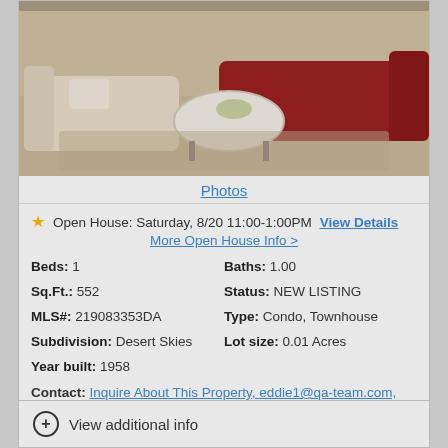[Figure (photo): Interior photo of a living room with cream/beige armchairs and a red couch around a round white coffee table]
Photos
★ Open House: Saturday, 8/20 11:00-1:00PM View Details
More Open House Info >
Beds: 1
Baths: 1.00
Sq.Ft.: 552
Status: NEW LISTING
MLS#: 219083353DA
Type: Condo, Townhouse
Subdivision: Desert Skies
Lot size: 0.01 Acres
Year built: 1958
Contact: Inquire About This Property, eddie1@qa-team.com, (800) 444-1111
Courtesy: Steven Richitt CalDRE: 02035358 - Keller Williams Luxury Homes Steven Richitt CalDRE: 02035358
Request Info   Save Property
+ View additional info